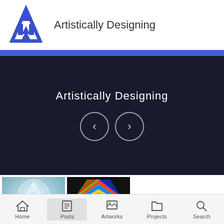[Figure (logo): Blue geometric logo with mountain/building shapes and tree]
Artistically Designing
[Figure (screenshot): Hero banner with dark navy background showing 'Artistically Designing' text and left/right navigation arrow buttons]
[Figure (photo): Thumbnail of crystal/glass organic sculpture on blue-gray background]
[Figure (photo): Thumbnail of colorful kaleidoscopic geometric artwork with vivid colors]
Home  Posts  Artworks  Projects  Search